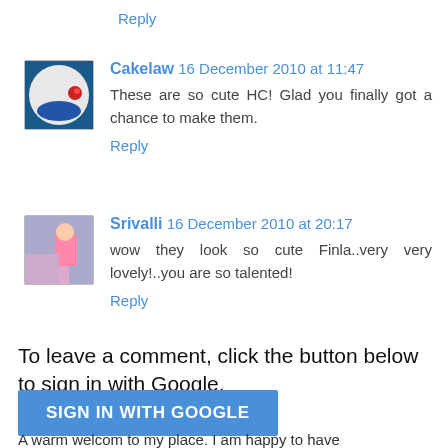Reply
Cakelaw 16 December 2010 at 11:47
These are so cute HC! Glad you finally got a chance to make them.
Reply
Srivalli 16 December 2010 at 20:17
wow they look so cute Finla..very very lovely!..you are so talented!
Reply
To leave a comment, click the button below to sign in with Google.
SIGN IN WITH GOOGLE
A warm welcom to my place. I am happy to have